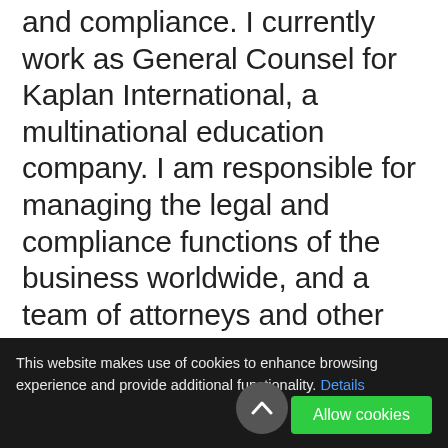and compliance. I currently work as General Counsel for Kaplan International, a multinational education company. I am responsible for managing the legal and compliance functions of the business worldwide, and a team of attorneys and other staff. Previous experience at Allen & Overy LLP (London) and Bell Gully (Auckland NZ). Master of Laws from Columbia (New York). I served as a Co-opted governor at Wix from November 2015 and chaired the Pupil Welfare Committee from February 2016 to July 2017. I have served as a Trustee of the Quality First Education Trust since June 2017 and now also serve on the local governing body at Belleville
This website makes use of cookies to enhance browsing experience and provide additional functionality. Details